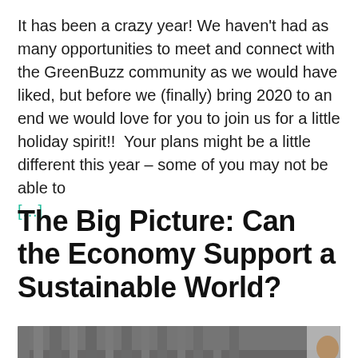It has been a crazy year! We haven't had as many opportunities to meet and connect with the GreenBuzz community as we would have liked, but before we (finally) bring 2020 to an end we would love for you to join us for a little holiday spirit!!  Your plans might be a little different this year – some of you may not be able to  […]
The Big Picture: Can the Economy Support a Sustainable World?
[Figure (photo): Panel discussion on stage with several people seated in chairs and one person standing on the right holding a microphone, with grey curtains in the background.]